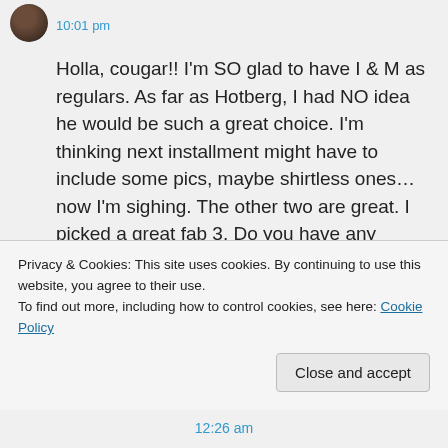10:01 pm
Holla, cougar!! I'm SO glad to have I & M as regulars. As far as Hotberg, I had NO idea he would be such a great choice. I'm thinking next installment might have to include some pics, maybe shirtless ones… now I'm sighing. The other two are great. I picked a great fab 3. Do you have any questions you'd like me to ask them???
Privacy & Cookies: This site uses cookies. By continuing to use this website, you agree to their use.
To find out more, including how to control cookies, see here: Cookie Policy
Close and accept
12:26 am